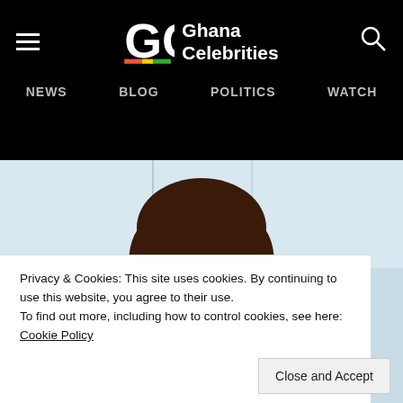Ghana Celebrities — NEWS  BLOG  POLITICS  WATCH
[Figure (photo): Photo of a smiling woman with brown hair against a light blue/white background]
Privacy & Cookies: This site uses cookies. By continuing to use this website, you agree to their use.
To find out more, including how to control cookies, see here:
Cookie Policy
Close and Accept